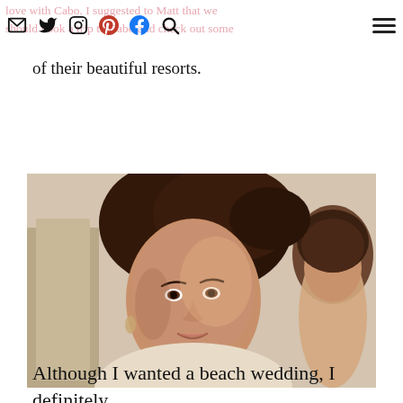love with Cabo. I suggested to Matt that we should book a trip to Cabo and check out some of their beautiful resorts.
of their beautiful resorts.
[Figure (photo): A woman with dark hair pulled up, wearing light-colored clothing, smiling slightly and looking to the side. Another woman is partially visible in the background on the right.]
Although I wanted a beach wedding, I definitely